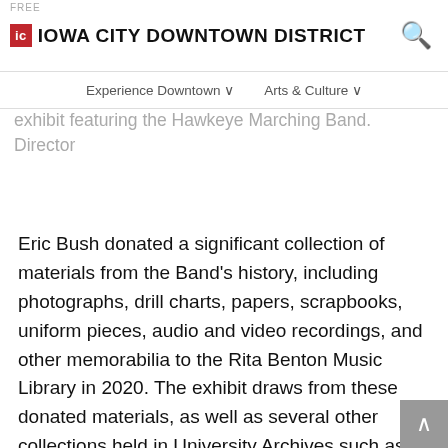FREE | Iowa City Downtown District
Stop by the Voxman Music Building for BAND 141, an exhibit featuring the Hawkeye Marching Band. Director Eric Bush donated a significant collection of materials from the Band's history, including photographs, drill charts, papers, scrapbooks, uniform pieces, audio and video recordings, and other memorabilia to the Rita Benton Music Library in 2020. The exhibit draws from these donated materials, as well as several other collections held in University Archives such as the UI Yearbooks, Charles B. Righter Papers, Scottish Highlander Records, and the Daily Iowan archives.
The exhibit opened September 3. Start your visit on the first floor by the School of Music offices where you can explore the band's history through its thirteen directors, core song list, innovative formations, and wide ranging